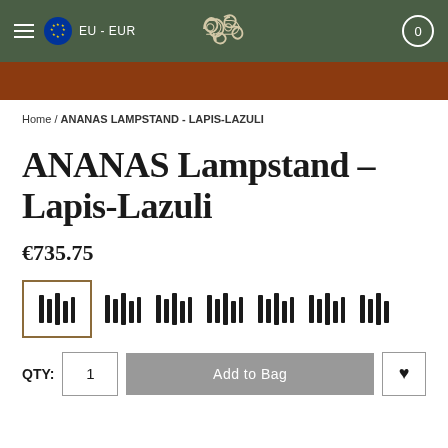EU - EUR | 0
Home / ANANAS LAMPSTAND - LAPIS-LAZULI
ANANAS Lampstand - Lapis-Lazuli
€735.75
[Figure (other): Quantity selector icons showing bar-style quantity option buttons, first one highlighted with a tan border]
QTY: 1  Add to Bag  ♥